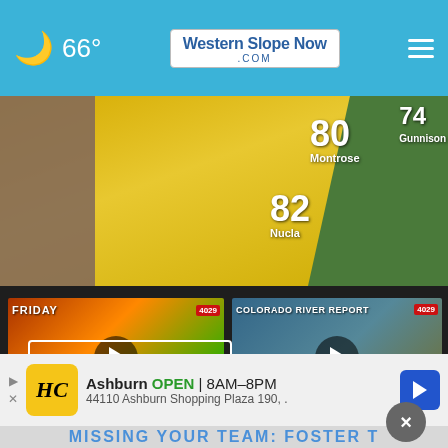66° Western Slope Now .com
[Figure (screenshot): Weather map showing temperature readings: 80 Montrose, 74 Gunnison, 82 Nucla on a yellow/orange regional map]
[Figure (screenshot): Video thumbnail: Forecast First 8/26/22, weather map with FRIDAY banner and play button]
Forecast First 8/26/22
3 days ago
[Figure (screenshot): Video thumbnail: Morning River Report, Colorado River Report banner with news anchor and play button]
Morning River Report
3 days ago
[Figure (screenshot): Partial video thumbnail: LATE T... (truncated)]
LATE T
More Videos ›
[Figure (screenshot): Advertisement: HC logo, Ashburn OPEN 8AM–8PM, 44110 Ashburn Shopping Plaza 190, with navigation icon]
MISSING YOUR TEAM: FOSTER T